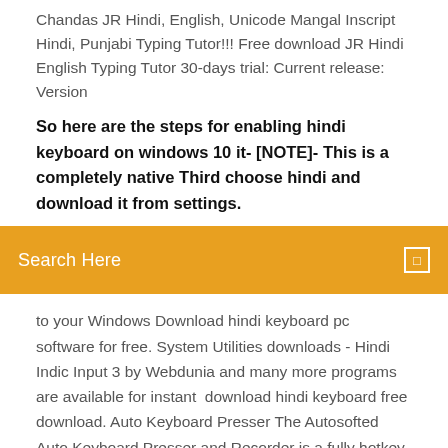Chandas JR Hindi, English, Unicode Mangal Inscript Hindi, Punjabi Typing Tutor!!! Free download JR Hindi English Typing Tutor 30-days trial: Current release: Version
So here are the steps for enabling hindi keyboard on windows 10 it- [NOTE]- This is a completely native Third choose hindi and download it from settings.
[Figure (other): Orange search bar with text 'Search Here' and a small square icon on the right]
to your Windows Download hindi keyboard pc software for free. System Utilities downloads - Hindi Indic Input 3 by Webdunia and many more programs are available for instant  download hindi keyboard free download. Auto Keyboard Presser The Autosofted Auto Keyboard Presser and Recorder is a fully hotkey compatible tool, it is also  4 days ago Download and install Hindi Keyboard in PC and you can install Hindi Keyboard 115.0.0.9.100 in your Windows PC and Mac OS. Hindi हिंदी कीबोर्ड - View or Download Hindi Keyboard with Kurti Dev and